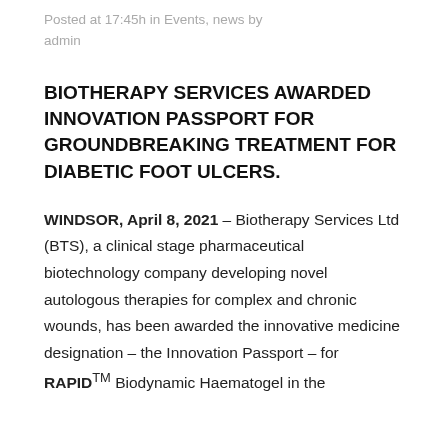Posted at 17:45h in Events, news by admin
BIOTHERAPY SERVICES AWARDED INNOVATION PASSPORT FOR GROUNDBREAKING TREATMENT FOR DIABETIC FOOT ULCERS.
WINDSOR, April 8, 2021 – Biotherapy Services Ltd (BTS), a clinical stage pharmaceutical biotechnology company developing novel autologous therapies for complex and chronic wounds, has been awarded the innovative medicine designation – the Innovation Passport – for RAPID™ Biodynamic Haematogel in the